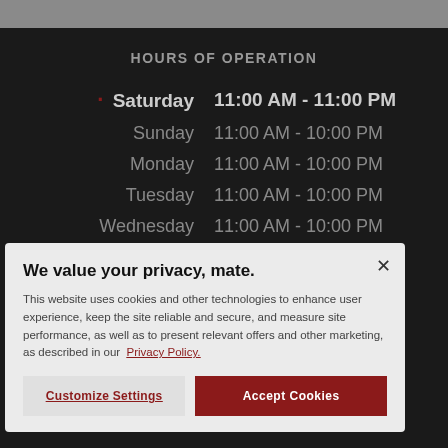HOURS OF OPERATION
| Day | Hours |
| --- | --- |
| Saturday | 11:00 AM - 11:00 PM |
| Sunday | 11:00 AM - 10:00 PM |
| Monday | 11:00 AM - 10:00 PM |
| Tuesday | 11:00 AM - 10:00 PM |
| Wednesday | 11:00 AM - 10:00 PM |
| Thursday | 11:00 AM - 10:00 PM |
| Friday | 11:00 AM - 11:00 PM |
We value your privacy, mate.
This website uses cookies and other technologies to enhance user experience, keep the site reliable and secure, and measure site performance, as well as to present relevant offers and other marketing, as described in our Privacy Policy.
Customize Settings
Accept Cookies